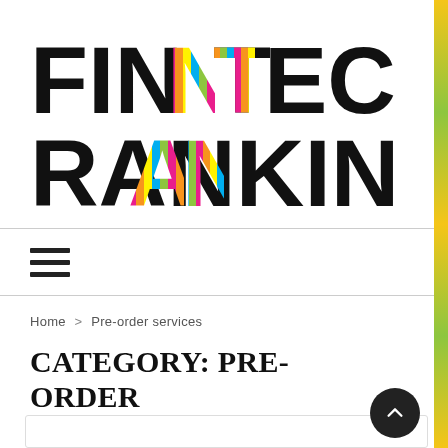[Figure (logo): FINTECH RANKING logo in bold black letters with colorful diagonal stripe accents on certain letters]
[Figure (other): Hamburger menu icon (three horizontal lines)]
Home > Pre-order services
CATEGORY: PRE-ORDER SERVICES